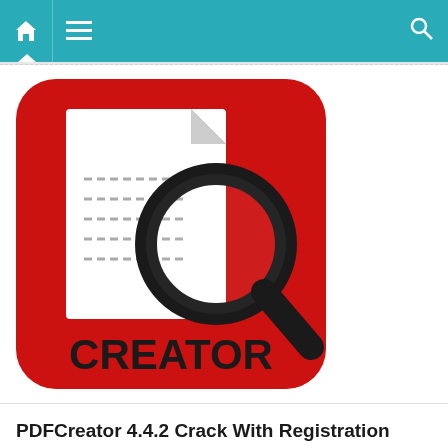Navigation bar with home, menu, and search icons
[Figure (logo): PDFCreator app logo: red rounded square with a white document page and magnifying glass icon, text CREATOR at bottom]
PDFCreator 4.4.2 Crack With Registration Code Free Download 2021
July 19, 2022  Mustansar  Leave A Comment
PDFCreator 4.4.2 Crack With Registration Code Free Download